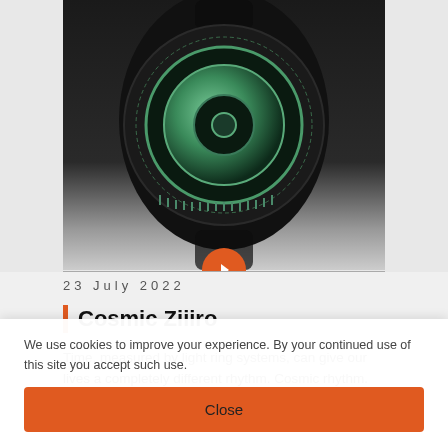[Figure (photo): Close-up photo of a dark/black Ziiiro Saturn watch with glowing green ring display on white/grey background]
23 July 2022
Cosmic Ziiiro
Time, measured by light ring systems, can give our lives a completely different rhythm. Cosmic rhythm. Ziiiro Saturn Watch is a watch for all those who are fond of original an...
[Figure (photo): Colorful athletic/running shoes partially visible at the bottom of the page]
We use cookies to improve your experience. By your continued use of this site you accept such use.
Close